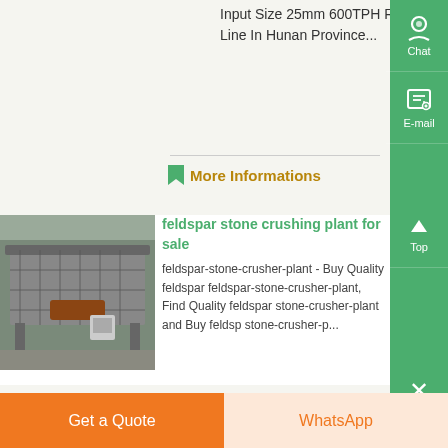Input Size 25mm 600TPH River Pebble Sand Production Line In Hunan Province...
More Informations
[Figure (photo): Industrial vibrating screen / feldspar stone crushing plant equipment in a warehouse]
feldspar stone crushing plant for sale
feldspar-stone-crusher-plant - Buy Quality feldspar feldspar-stone-crusher-plant, Find Quality feldspar stone-crusher-plant and Buy feldspar stone-crusher-p...